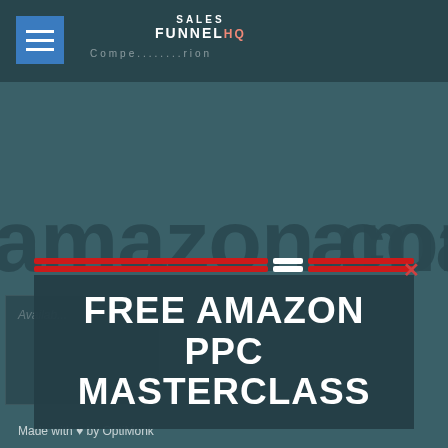[Figure (screenshot): Website screenshot with teal/dark green background showing Amazon.com text in background, Sales Funnel HQ logo at top, hamburger menu icon, and navigation text. A modal popup overlay shows FREE AMAZON PPC MASTERCLASS with red stripe decorations, email input field, green Submit button, and No thanks link. Footer shows Made with heart by OptiMonk.]
FREE AMAZON PPC MASTERCLASS
Email
Submit
No, thanks.
Made with ♥ by OptiMonk